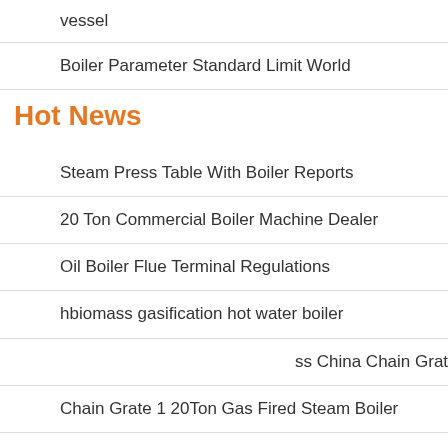vessel
Boiler Parameter Standard Limit World
Hot News
Steam Press Table With Boiler Reports
20 Ton Commercial Boiler Machine Dealer
Oil Boiler Flue Terminal Regulations
hbiomass gasification hot water boiler
ss China Chain Grate Vertical
Chain Grate 1 20Ton Gas Fired Steam Boiler